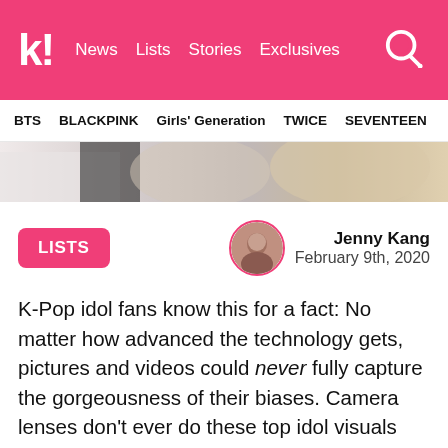k! News Lists Stories Exclusives
BTS BLACKPINK Girls' Generation TWICE SEVENTEEN
[Figure (photo): Hero image strip showing K-Pop female idols, cropped partial view]
LISTS
[Figure (photo): Circular avatar photo of author Jenny Kang with pink border]
Jenny Kang
February 9th, 2020
K-Pop idol fans know this for a fact: No matter how advanced the technology gets, pictures and videos could never fully capture the gorgeousness of their biases. Camera lenses don't ever do these top idol visuals any justice — but here are 7 GIFs that most closely capture how these female idols look in real life (according to Korean netizens who have been blessed enough to have witnessed them in